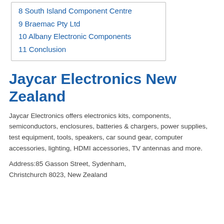8 South Island Component Centre
9 Braemac Pty Ltd
10 Albany Electronic Components
11 Conclusion
Jaycar Electronics New Zealand
Jaycar Electronics offers electronics kits, components, semiconductors, enclosures, batteries & chargers, power supplies, test equipment, tools, speakers, car sound gear, computer accessories, lighting, HDMI accessories, TV antennas and more.
Address:85 Gasson Street, Sydenham, Christchurch 8023, New Zealand